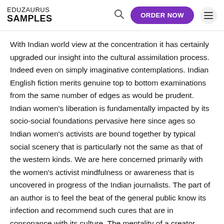EDUZAURUS SAMPLES
With Indian world view at the concentration it has certainly upgraded our insight into the cultural assimilation process. Indeed even on simply imaginative contemplations. Indian English fiction merits genuine top to bottom examinations from the same number of edges as would be prudent. Indian women's liberation is fundamentally impacted by its socio-social foundations pervasive here since ages so Indian women's activists are bound together by typical social scenery that is particularly not the same as that of the western kinds. We are here concerned primarily with the women's activist mindfulness or awareness that is uncovered in progress of the Indian journalists. The part of an author is to feel the beat of the general public know its infection and recommend such cures that are in consonance with its culture. The mentality of a creator towards people